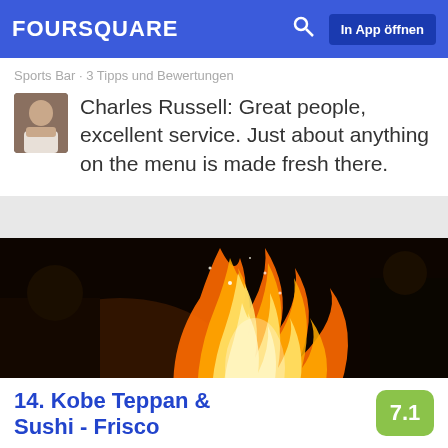FOURSQUARE  In App öffnen
Sports Bar · 3 Tipps und Bewertungen
Charles Russell: Great people, excellent service. Just about anything on the menu is made fresh there.
[Figure (photo): A chef cooking with dramatic flames on a teppanyaki grill in a dark restaurant setting]
14. Kobe Teppan & Sushi - Frisco
7.1